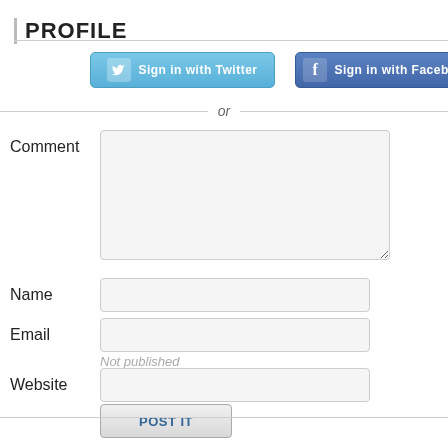PROFILE
[Figure (screenshot): Sign in with Twitter button (light blue)]
[Figure (screenshot): Sign in with Facebook button (dark blue)]
or
Comment
Name
Email
Not published
Website
POST IT